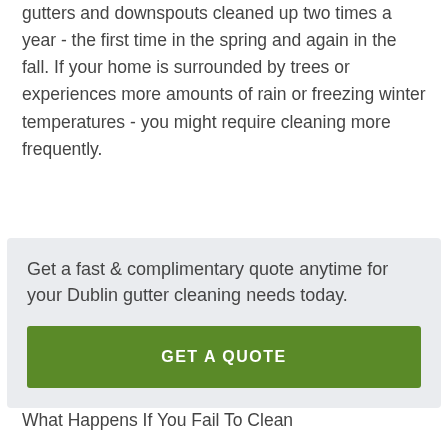gutters and downspouts cleaned up two times a year - the first time in the spring and again in the fall. If your home is surrounded by trees or experiences more amounts of rain or freezing winter temperatures - you might require cleaning more frequently.
Get a fast & complimentary quote anytime for your Dublin gutter cleaning needs today.
GET A QUOTE
What Happens If You Fail To Clean